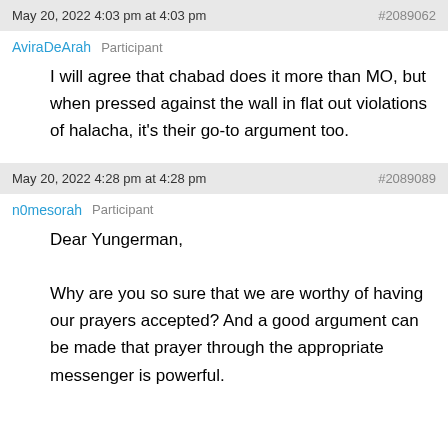May 20, 2022 4:03 pm at 4:03 pm   #2089062
AviraDeArah   Participant
I will agree that chabad does it more than MO, but when pressed against the wall in flat out violations of halacha, it's their go-to argument too.
May 20, 2022 4:28 pm at 4:28 pm   #2089089
n0mesorah   Participant
Dear Yungerman,

Why are you so sure that we are worthy of having our prayers accepted? And a good argument can be made that prayer through the appropriate messenger is powerful.